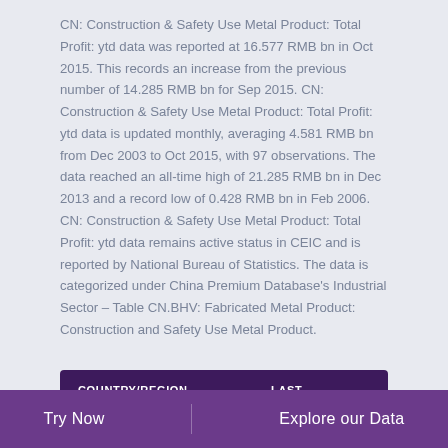CN: Construction & Safety Use Metal Product: Total Profit: ytd data was reported at 16.577 RMB bn in Oct 2015. This records an increase from the previous number of 14.285 RMB bn for Sep 2015. CN: Construction & Safety Use Metal Product: Total Profit: ytd data is updated monthly, averaging 4.581 RMB bn from Dec 2003 to Oct 2015, with 97 observations. The data reached an all-time high of 21.285 RMB bn in Dec 2013 and a record low of 0.428 RMB bn in Feb 2006. CN: Construction & Safety Use Metal Product: Total Profit: ytd data remains active status in CEIC and is reported by National Bureau of Statistics. The data is categorized under China Premium Database's Industrial Sector – Table CN.BHV: Fabricated Metal Product: Construction and Safety Use Metal Product.
| COUNTRY/REGION | LAST |
| --- | --- |
| CN: Construction & Safety Use Metal | ▲ 16.577 |
Try Now    Explore our Data